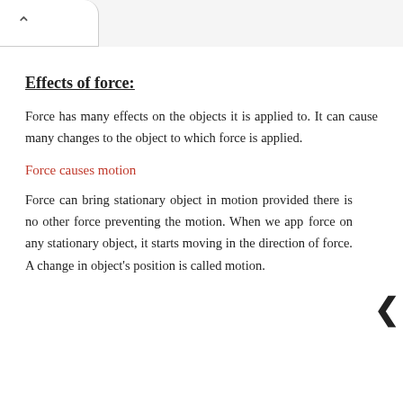Effects of force:
Force has many effects on the objects it is applied to. It can cause many changes to the object to which force is applied.
Force causes motion
Force can bring stationary object in motion provided there is no other force preventing the motion. When we app force on any stationary object, it starts moving in the direction of force. A change in object's position is called motion.